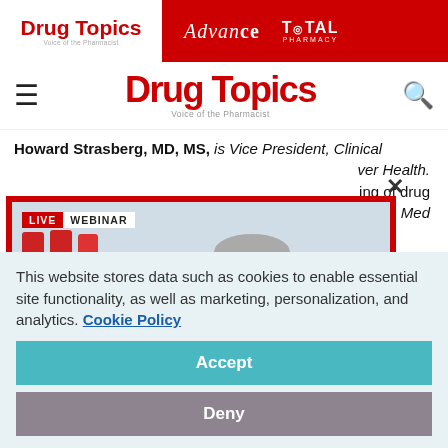Drug Topics | Advance | TOTAL PHARMACY
[Figure (logo): Drug Topics navigation bar with hamburger menu, Drug Topics logo in red, and search icon]
Howard Strasberg, MD, MS, is Vice President, Clinical ... ver Health. ... ing of drug ... try. J Am Med ... MD
[Figure (photo): Live Webinar overlay showing a doctor in white coat with glasses examining shelves of medication bottles, holding a blue tablet]
This website stores data such as cookies to enable essential site functionality, as well as marketing, personalization, and analytics. Cookie Policy
Accept
Deny